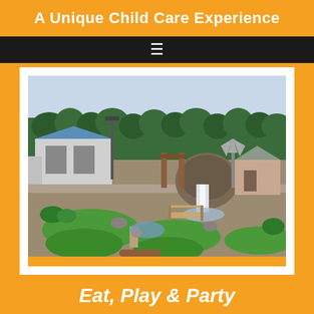A Unique Child Care Experience
[Figure (photo): Aerial view of a mini-golf course with a waterfall feature, windmill, bridge, green putting areas, a blue-roofed pavilion building, and wooded treeline in the background.]
Eat, Play & Party